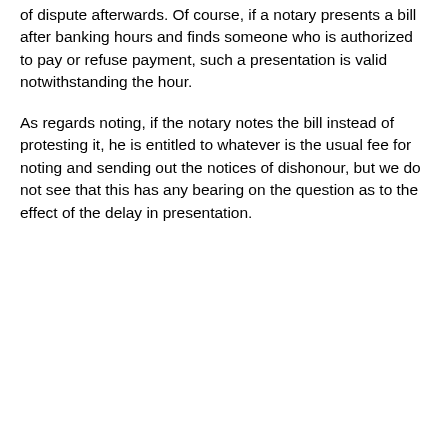of dispute afterwards. Of course, if a notary presents a bill after banking hours and finds someone who is authorized to pay or refuse payment, such a presentation is valid notwithstanding the hour.
As regards noting, if the notary notes the bill instead of protesting it, he is entitled to whatever is the usual fee for noting and sending out the notices of dishonour, but we do not see that this has any bearing on the question as to the effect of the delay in presentation.